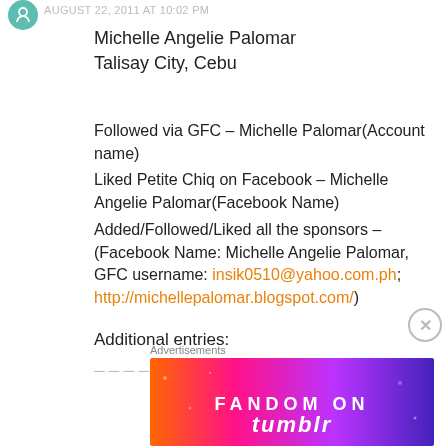August 22, 2011 at 10:02 PM
Michelle Angelie Palomar
Talisay City, Cebu
Followed via GFC – Michelle Palomar(Account name)
Liked Petite Chiq on Facebook – Michelle Angelie Palomar(Facebook Name)
Added/Followed/Liked all the sponsors – (Facebook Name: Michelle Angelie Palomar, GFC username: insik0510@yahoo.com.ph; http://michellepalomar.blogspot.com/)
Additional entries:
[Figure (other): Fandom on Tumblr advertisement banner with colorful gradient background]
Advertisements